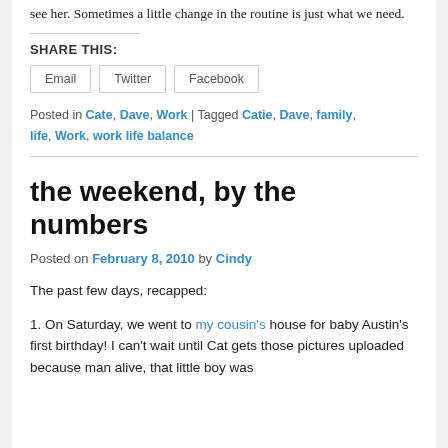see her. Sometimes a little change in the routine is just what we need.
SHARE THIS:
Email | Twitter | Facebook
Posted in Cate, Dave, Work | Tagged Catie, Dave, family, life, Work, work life balance
the weekend, by the numbers
Posted on February 8, 2010 by Cindy
The past few days, recapped:
1. On Saturday, we went to my cousin's house for baby Austin's first birthday! I can't wait until Cat gets those pictures uploaded because man alive, that little boy was